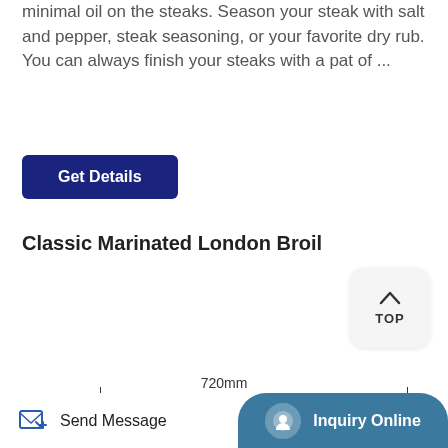minimal oil on the steaks. Season your steak with salt and pepper, steak seasoning, or your favorite dry rub. You can always finish your steaks with a pat of ...
Get Details
Classic Marinated London Broil
[Figure (screenshot): TOP button (scroll to top) with upward arrow icon on light gray rounded square background]
[Figure (photo): Industrial vacuum drying oven equipment with teal/blue door, control panel with gauges, showing 720mm dimension measurement]
Send Message
Inquiry Online